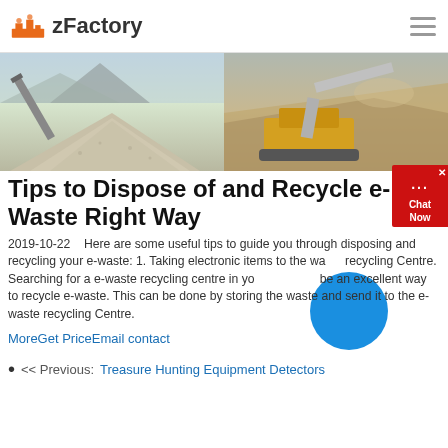zFactory
[Figure (photo): Two side-by-side photos: left shows a large pile of crushed stone/gravel with a conveyor belt and mountains in background; right shows heavy yellow excavation/crushing equipment operating in a quarry.]
Tips to Dispose of and Recycle e-Waste Right Way
2019-10-22    Here are some useful tips to guide you through disposing and recycling your e-waste: 1. Taking electronic items to the waste recycling Centre. Searching for a e-waste recycling centre in your area can be an excellent way to recycle e-waste. This can be done by storing the waste and send it to the e-waste recycling Centre.
MoreGet PriceEmail contact
<< Previous: Treasure Hunting Equipment Detectors